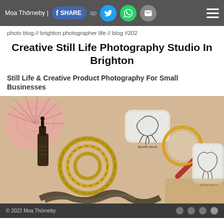Moa Thörneby | SHARE ap [Twitter] [WhatsApp] [Email] [Menu]
photo blog // brighton photographer life // blog #202
Creative Still Life Photography Studio In Brighton
Still Life & Creative Product Photography For Small Businesses
[Figure (photo): Flat-lay still life product photography showing beard balm tins with octopus illustrations, a magnifying glass with red handle, a seashell, gold rope, a dropper bottle, and dark netting arranged on a cream linen fabric background.]
© 2022 Moa Thörneby